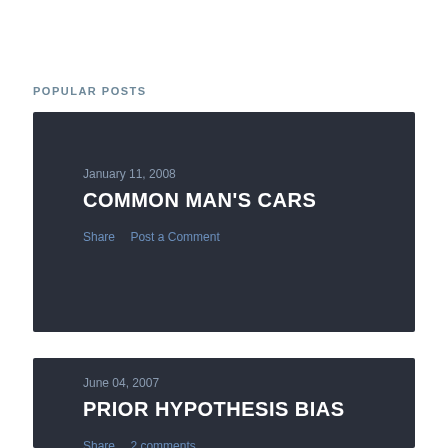POPULAR POSTS
[Figure (screenshot): Dark card for blog post: date 'January 11, 2008', title 'COMMON MAN'S CARS', actions 'Share' and 'Post a Comment']
[Figure (screenshot): Dark card for blog post: date 'June 04, 2007', title 'PRIOR HYPOTHESIS BIAS', actions 'Share' and '2 comments']